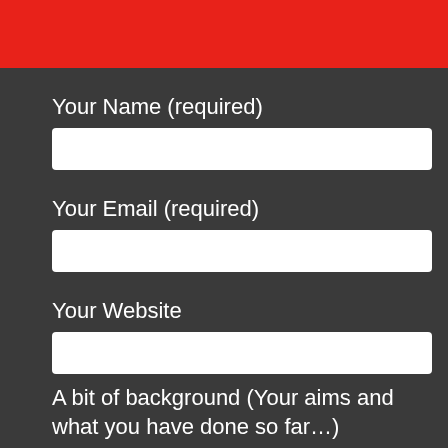Your Name (required)
Your Email (required)
Your Website
A bit of background (Your aims and what you have done so far…)